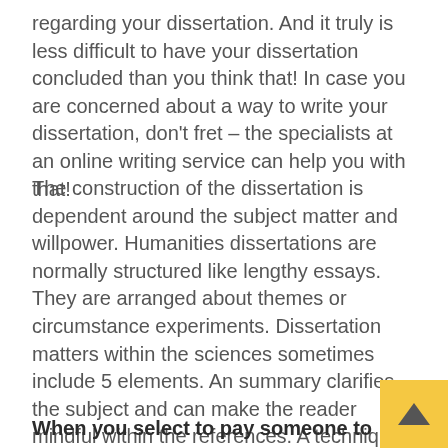regarding your dissertation. And it truly is less difficult to have your dissertation concluded than you think that! In case you are concerned about a way to write your dissertation, don't fret – the specialists at an online writing service can help you with that!
The construction of the dissertation is dependent around the subject matter and willpower. Humanities dissertations are normally structured like lengthy essays. They are arranged about themes or circumstance experiments. Dissertation matters within the sciences sometimes include 5 elements. An summary clarifies the subject and can make the reader mindful within the references. A technique segment is element oriented. The dialogue segment may very well be influenced by empirical details. As soon as the introduction and approaches part are finish, the ultimate dissertation chapter needs to be created.
When you select to pay someone to write